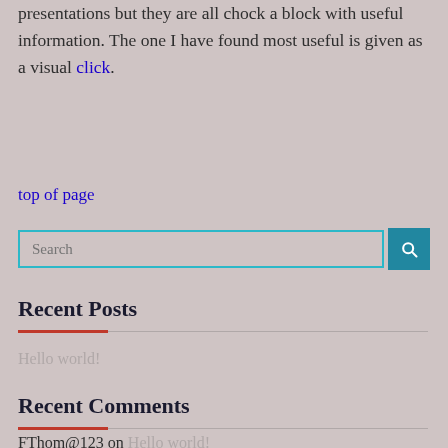presentations but they are all chock a block with useful information. The one I have found most useful is given as a visual click.
top of page
Search
Recent Posts
Hello world!
Recent Comments
FThom@123 on Hello world!